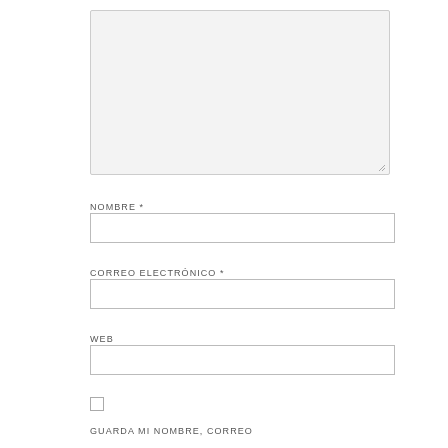[Figure (screenshot): A large textarea input field with a light gray background and resize handle at bottom-right corner.]
NOMBRE *
[Figure (screenshot): Text input field for NOMBRE]
CORREO ELECTRÓNICO *
[Figure (screenshot): Text input field for CORREO ELECTRÓNICO]
WEB
[Figure (screenshot): Text input field for WEB]
[Figure (screenshot): Checkbox (unchecked)]
GUARDA MI NOMBRE, CORREO